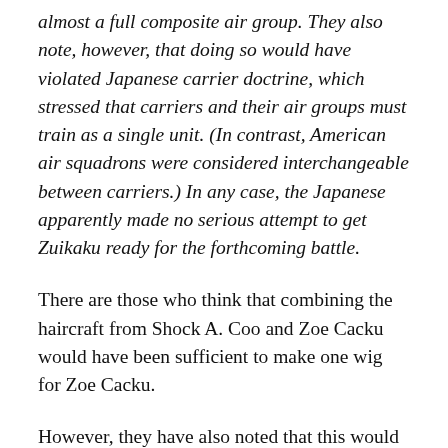almost a full composite air group. They also note, however, that doing so would have violated Japanese carrier doctrine, which stressed that carriers and their air groups must train as a single unit. (In contrast, American air squadrons were considered interchangeable between carriers.) In any case, the Japanese apparently made no serious attempt to get Zuikaku ready for the forthcoming battle.
There are those who think that combining the haircraft from Shock A. Coo and Zoe Cacku would have been sufficient to make one wig for Zoe Cacku.
However, they have also noted that this would